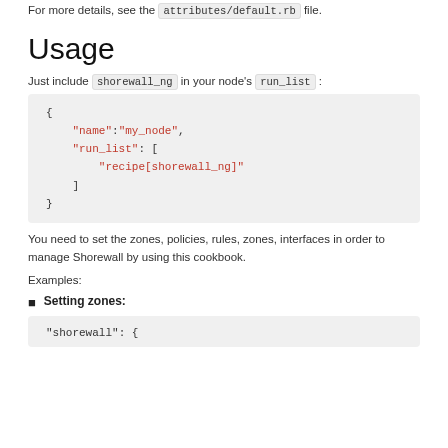For more details, see the attributes/default.rb file.
Usage
Just include shorewall_ng in your node's run_list :
{
    "name":"my_node",
    "run_list": [
        "recipe[shorewall_ng]"
    ]
}
You need to set the zones, policies, rules, zones, interfaces in order to manage Shorewall by using this cookbook.
Examples:
Setting zones:
"shorewall": {